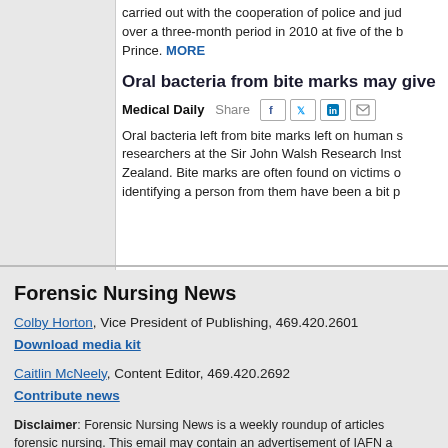carried out with the cooperation of police and jud over a three-month period in 2010 at five of the b Prince. MORE
Oral bacteria from bite marks may give
Medical Daily  Share
Oral bacteria left from bite marks left on human s researchers at the Sir John Walsh Research Inst Zealand. Bite marks are often found on victims o identifying a person from them have been a bit p
Forensic Nursing News
Colby Horton, Vice President of Publishing, 469.420.2601
Download media kit
Caitlin McNeely, Content Editor, 469.420.2692
Contribute news
Disclaimer: Forensic Nursing News is a weekly roundup of articles forensic nursing. This email may contain an advertisement of IAFN a services. Opinions expressed in these articles do not necessarily re advertising partners. Forensic Nursing News is compiled by MultiBri Factual errors are the responsibility of the listed publication.